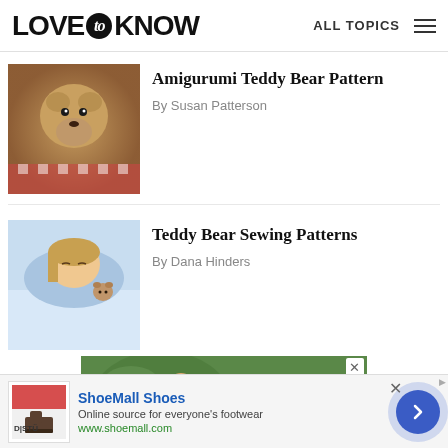LOVE to KNOW   ALL TOPICS
Amigurumi Teddy Bear Pattern
By Susan Patterson
[Figure (photo): Crocheted amigurumi teddy bear with tan/brown yarn, black button eyes, sitting on a red and white checkered surface]
Teddy Bear Sewing Patterns
By Dana Hinders
[Figure (photo): Young girl lying down resting her head on a pillow, wearing blue, cuddling a small teddy bear]
[Figure (photo): Advertisement banner: Insurance That Supports Your Passion - shows woman against green leafy background]
[Figure (screenshot): ShoeMall Shoes advertisement: Online source for everyone's footwear, www.shoemall.com, showing D|STU boot image]